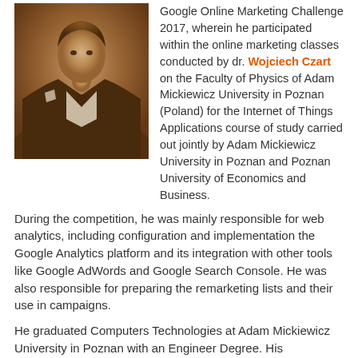[Figure (photo): Sepia-toned portrait photo of a young man in a dark blazer with a white shirt and a round pin/brooch, with a white pocket square visible.]
Google Online Marketing Challenge 2017, wherein he participated within the online marketing classes conducted by dr. Wojciech Czart on the Faculty of Physics of Adam Mickiewicz University in Poznan (Poland) for the Internet of Things Applications course of study carried out jointly by Adam Mickiewicz University in Poznan and Poznan University of Economics and Business.
During the competition, he was mainly responsible for web analytics, including configuration and implementation the Google Analytics platform and its integration with other tools like Google AdWords and Google Search Console. He was also responsible for preparing the remarketing lists and their use in campaigns.
He graduated Computers Technologies at Adam Mickiewicz University in Poznan with an Engineer Degree. His Engineering's Thesis was written under dr Wojciech Czart supervision and was based on his experience gained during the past GOMC 2016, and